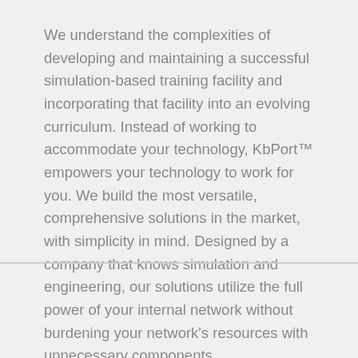We understand the complexities of developing and maintaining a successful simulation-based training facility and incorporating that facility into an evolving curriculum. Instead of working to accommodate your technology, KbPort™ empowers your technology to work for you. We build the most versatile, comprehensive solutions in the market, with simplicity in mind. Designed by a company that knows simulation and engineering, our solutions utilize the full power of your internal network without burdening your network's resources with unnecessary components.